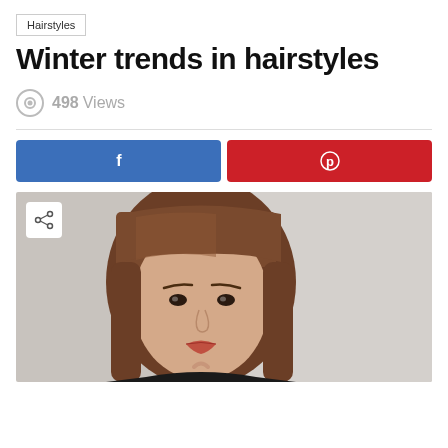Hairstyles
Winter trends in hairstyles
498 Views
[Figure (photo): Woman with brown hair with bangs, looking directly at camera against a light gray background]